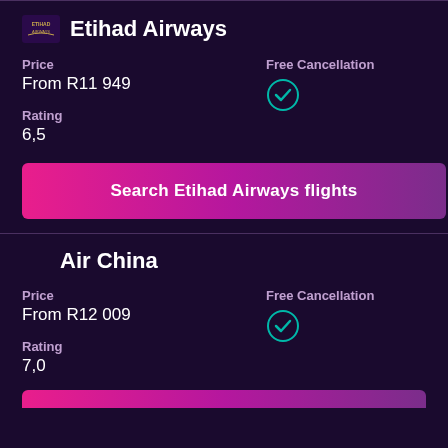Etihad Airways
Price
From R11 949
Free Cancellation
Rating
6,5
Search Etihad Airways flights
Air China
Price
From R12 009
Free Cancellation
Rating
7,0